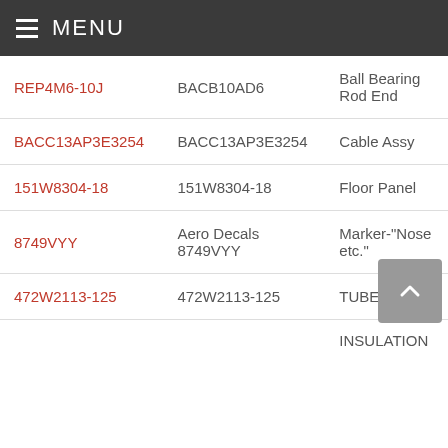MENU
| Part Number (Link) | Part Number | Description |
| --- | --- | --- |
| REP4M6-10J | BACB10AD6 | Ball Bearing Rod End |
| BACC13AP3E3254 | BACC13AP3E3254 | Cable Assy |
| 151W8304-18 | 151W8304-18 | Floor Panel |
| 8749VYY | Aero Decals 8749VYY | Marker-"Nose etc." |
| 472W2113-125 | 472W2113-125 | TUBE ASSY |
|  |  | INSULATION |